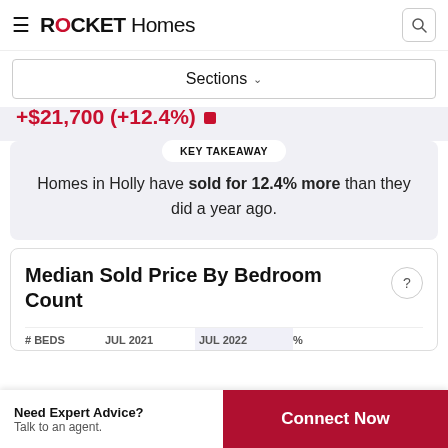ROCKET Homes
Sections
$21,700 (+12.4%) [cropped partial]
KEY TAKEAWAY
Homes in Holly have sold for 12.4% more than they did a year ago.
Median Sold Price By Bedroom Count
| # BEDS | JUL 2021 | JUL 2022 | % |
| --- | --- | --- | --- |
Need Expert Advice? Talk to an agent.
Connect Now